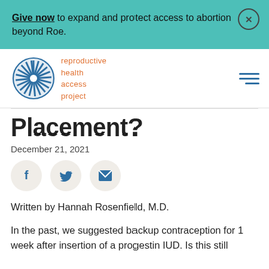Give now to expand and protect access to abortion beyond Roe.
[Figure (logo): Reproductive Health Access Project logo with circular sunburst emblem and orange text]
Placement?
December 21, 2021
[Figure (infographic): Social share buttons: Facebook, Twitter, Email]
Written by Hannah Rosenfield, M.D.
In the past, we suggested backup contraception for 1 week after insertion of a progestin IUD. Is this still